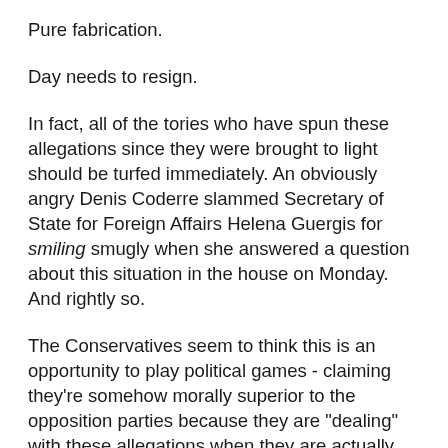Pure fabrication.
Day needs to resign.
In fact, all of the tories who have spun these allegations since they were brought to light should be turfed immediately. An obviously angry Denis Coderre slammed Secretary of State for Foreign Affairs Helena Guergis for smiling smugly when she answered a question about this situation in the house on Monday. And rightly so.
The Conservatives seem to think this is an opportunity to play political games - claiming they're somehow morally superior to the opposition parties because they are "dealing" with these allegations when they are actually doing everything they can to deny them and to offer political cover for their party colleagues. It's nothing short of disgusting - not to mention inhumane. If we had pictures, this would be their Abu Ghraib moment. They don't seem to get that.
Via the Globe and Mail, we also learn that O'Connor is whining instead of taking responsibility for his duties as